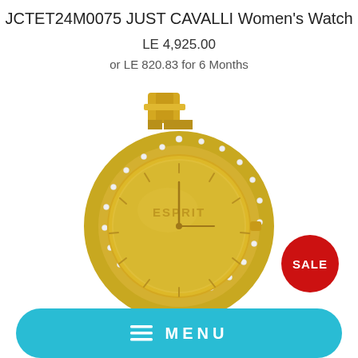JCTET24M0075 JUST CAVALLI Women's Watch
LE 4,925.00
or LE 820.83 for 6 Months
[Figure (photo): Gold-tone ESPRIT women's watch with crystal-studded bezel and gold bracelet, shown on white background. A red circular SALE badge is visible in the bottom right of the image.]
MENU